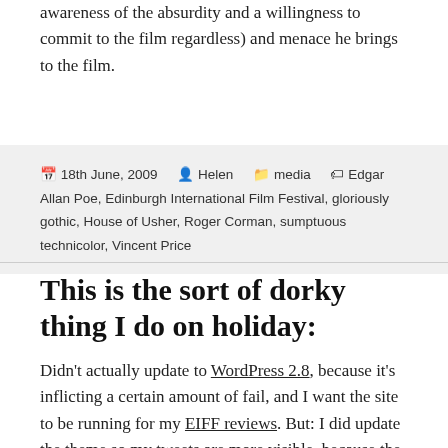awareness of the absurdity and a willingness to commit to the film regardless) and menace he brings to the film.
18th June, 2009  Helen  media  Edgar Allan Poe, Edinburgh International Film Festival, gloriously gothic, House of Usher, Roger Corman, sumptuous technicolor, Vincent Price
This is the sort of dorky thing I do on holiday:
Didn't actually update to WordPress 2.8, because it's inflicting a certain amount of fail, and I want the site to be running for my EIFF reviews. But: I did update the theme so my tweets are more visible, because the chances of me getting around to blogging everything in Edinburgh are slim.